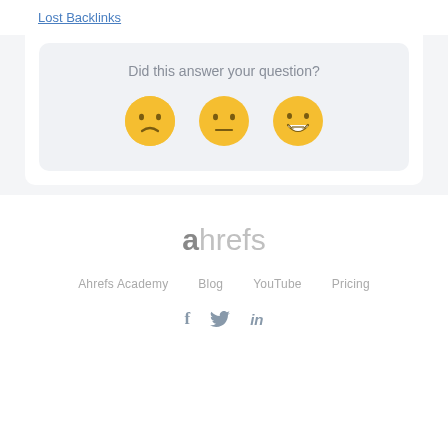Lost Backlinks
Did this answer your question?
[Figure (illustration): Three emoji faces: sad face, neutral face, and happy face for feedback rating]
[Figure (logo): Ahrefs logo in gray tones]
Ahrefs Academy   Blog   YouTube   Pricing
Social icons: Facebook, Twitter, LinkedIn